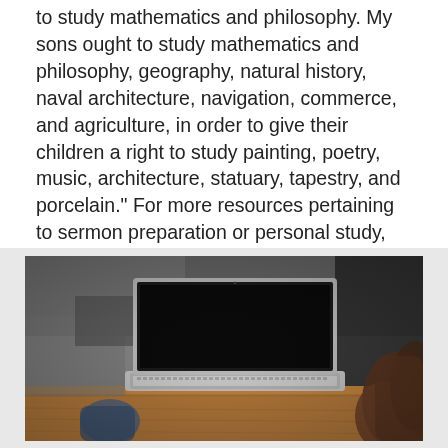to study mathematics and philosophy. My sons ought to study mathematics and philosophy, geography, natural history, naval architecture, navigation, commerce, and agriculture, in order to give their children a right to study painting, poetry, music, architecture, statuary, tapestry, and porcelain." For more resources pertaining to sermon preparation or personal study, visit Executable Links.
[Figure (photo): A person using a MacBook laptop computer at a wooden table, photographed from the side/behind. The laptop screen is black/dark. A blurred hand is visible in the foreground right.]